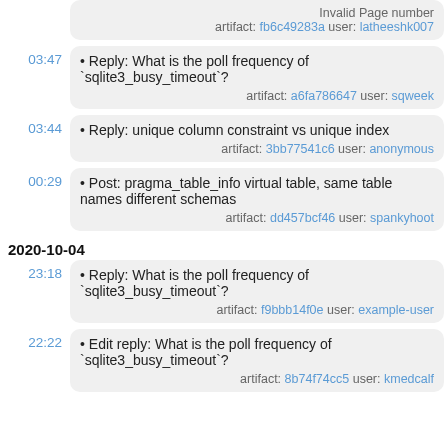Invalid Page number artifact: fb6c49283a user: latheeshk007
• Reply: What is the poll frequency of `sqlite3_busy_timeout`? artifact: a6fa786647 user: sqweek
• Reply: unique column constraint vs unique index artifact: 3bb77541c6 user: anonymous
• Post: pragma_table_info virtual table, same table names different schemas artifact: dd457bcf46 user: spankyhoot
2020-10-04
• Reply: What is the poll frequency of `sqlite3_busy_timeout`? artifact: f9bbb14f0e user: example-user
• Edit reply: What is the poll frequency of `sqlite3_busy_timeout`? artifact: 8b74f74cc5 user: kmedcalf